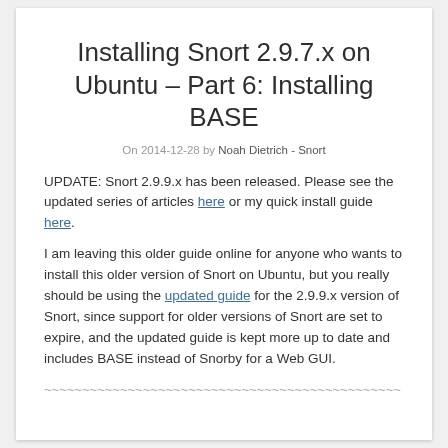Installing Snort 2.9.7.x on Ubuntu – Part 6: Installing BASE
On 2014-12-28 by Noah Dietrich - Snort
UPDATE: Snort 2.9.9.x has been released. Please see the updated series of articles here or my quick install guide here.
I am leaving this older guide online for anyone who wants to install this older version of Snort on Ubuntu, but you really should be using the updated guide for the 2.9.9.x version of Snort, since support for older versions of Snort are set to expire, and the updated guide is kept more up to date and includes BASE instead of Snorby for a Web GUI.
~~~~~~~~~~~~~~~~~~~~~~~~~~~~~~~~~~~~~~~~~~~~~~~